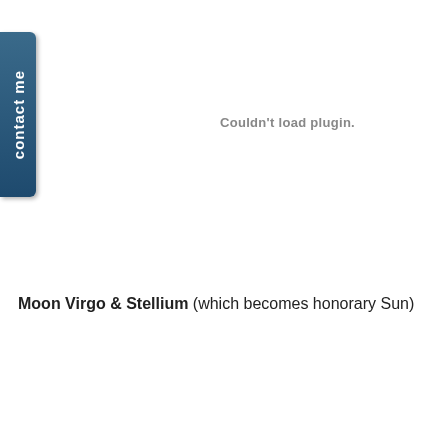[Figure (other): Vertical 'contact me' tab button on the left edge, dark blue/teal rounded rectangle with white rotated text]
Couldn't load plugin.
Moon Virgo & Stellium (which becomes honorary Sun)